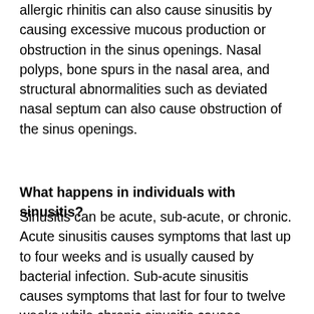allergic rhinitis can also cause sinusitis by causing excessive mucous production or obstruction in the sinus openings. Nasal polyps, bone spurs in the nasal area, and structural abnormalities such as deviated nasal septum can also cause obstruction of the sinus openings.
What happens in individuals with sinusitis?
Sinusitis can be acute, sub-acute, or chronic. Acute sinusitis causes symptoms that last up to four weeks and is usually caused by bacterial infection. Sub-acute sinusitis causes symptoms that last for four to twelve weeks while chronic sinusitis causes symptoms for at least three months and can be caused by